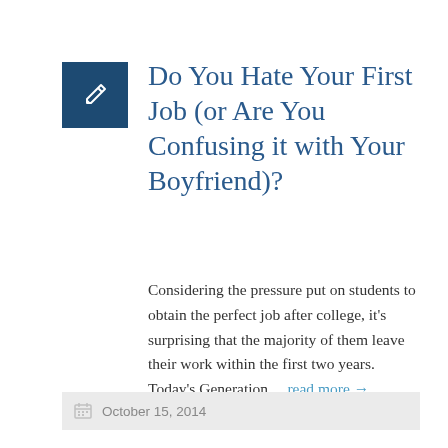[Figure (illustration): Dark navy blue square icon with a white pencil/edit symbol in the center]
Do You Hate Your First Job (or Are You Confusing it with Your Boyfriend)?
Considering the pressure put on students to obtain the perfect job after college, it’s surprising that the majority of them leave their work within the first two years. Today’s Generation… read more →
October 15, 2014